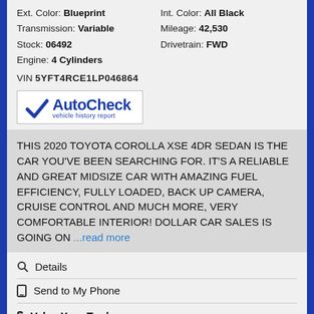Ext. Color: Blueprint  Int. Color: All Black  Transmission: Variable  Mileage: 42,530  Stock: 06492  Drivetrain: FWD  Engine: 4 Cylinders  VIN 5YFT4RCE1LP046864
[Figure (logo): AutoCheck vehicle history report logo with blue checkmark]
THIS 2020 TOYOTA COROLLA XSE 4DR SEDAN IS THE CAR YOU'VE BEEN SEARCHING FOR. IT'S A RELIABLE AND GREAT MIDSIZE CAR WITH AMAZING FUEL EFFICIENCY, FULLY LOADED, BACK UP CAMERA, CRUISE CONTROL AND MUCH MORE, VERY COMFORTABLE INTERIOR! DOLLAR CAR SALES IS GOING ON ...read more
Details
Send to My Phone
Value Your Trade